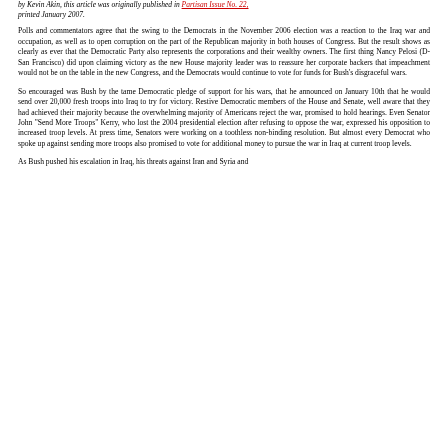by Kevin Akin, this article was originally published in Partisan Issue No. 22, printed January 2007.
Polls and commentators agree that the swing to the Democrats in the November 2006 election was a reaction to the Iraq war and occupation, as well as to open corruption on the part of the Republican majority in both houses of Congress. But the result shows as clearly as ever that the Democratic Party also represents the corporations and their wealthy owners. The first thing Nancy Pelosi (D-San Francisco) did upon claiming victory as the new House majority leader was to reassure her corporate backers that impeachment would not be on the table in the new Congress, and the Democrats would continue to vote for funds for Bush's disgraceful wars.
So encouraged was Bush by the tame Democratic pledge of support for his wars, that he announced on January 10th that he would send over 20,000 fresh troops into Iraq to try for victory. Restive Democratic members of the House and Senate, well aware that they had achieved their majority because the overwhelming majority of Americans reject the war, promised to hold hearings. Even Senator John "Send More Troops" Kerry, who lost the 2004 presidential election after refusing to oppose the war, expressed his opposition to increased troop levels. At press time, Senators were working on a toothless non-binding resolution. But almost every Democrat who spoke up against sending more troops also promised to vote for additional money to pursue the war in Iraq at current troop levels.
As Bush pushed his escalation in Iraq, his threats against Iran and Syria and